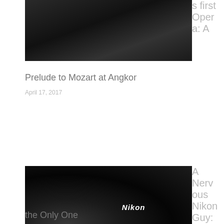[Figure (photo): Partial black and white photo of a person, cropped, dark tones]
s first Opera: A
Prelude to Mozart at Angkor
April 17, 2017
[Figure (photo): Black and white close-up photo of a Nikon DSLR camera with a large lens in the foreground]
A Nervous Nikon Guy: I'm Probably Not
the Only One